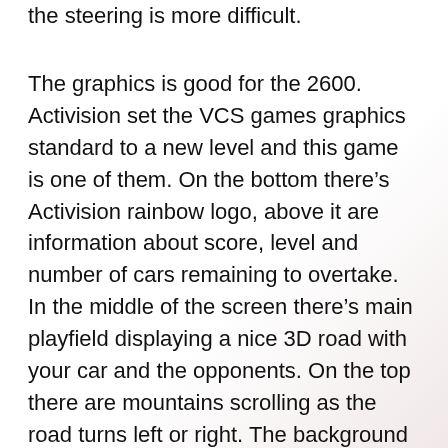the steering is more difficult.
The graphics is good for the 2600. Activision set the VCS games graphics standard to a new level and this game is one of them. On the bottom there’s Activision rainbow logo, above it are information about score, level and number of cars remaining to overtake. In the middle of the screen there’s main playfield displaying a nice 3D road with your car and the opponents. On the top there are mountains scrolling as the road turns left or right. The background color of the playfield and the top part is varying according to what time you’re driving, i.e. day, evening, night, deep night, fog, snow, morning, etc. It nicely demonstrates the VCS’s nice color capability. Sounds aren’t bad as well. There’s a really strong engine buzz sound of